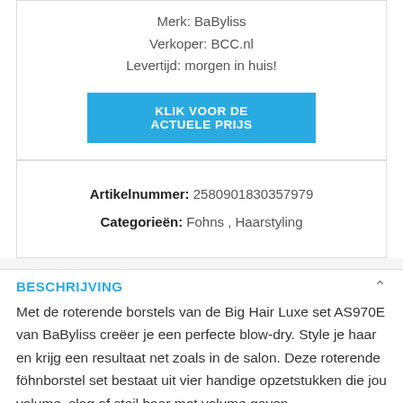Merk: BaByliss
Verkoper: BCC.nl
Levertijd: morgen in huis!
KLIK VOOR DE ACTUELE PRIJS
Artikelnummer: 2580901830357979
Categorieën: Fohns , Haarstyling
BESCHRIJVING
Met de roterende borstels van de Big Hair Luxe set AS970E van BaByliss creëer je een perfecte blow-dry. Style je haar en krijg een resultaat net zoals in de salon. Deze roterende föhnborstel set bestaat uit vier handige opzetstukken die jou volume, slag of steil haar met volume geven.